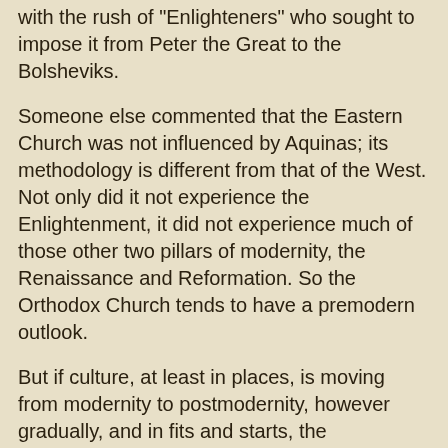with the rush of "Enlighteners" who sought to impose it from Peter the Great to the Bolsheviks.
Someone else commented that the Eastern Church was not influenced by Aquinas; its methodology is different from that of the West. Not only did it not experience the Enlightenment, it did not experience much of those other two pillars of modernity, the Renaissance and Reformation. So the Orthodox Church tends to have a premodern outlook.
But if culture, at least in places, is moving from modernity to postmodernity, however gradually, and in fits and starts, the "evidentiary" approach will not be of much use. And I have a suspicion that so-called "Islamic fundamentalism" is also a manifestation of modernity. Early modern Europe was characterised by witch hunts; nowadays people like to call witch hunts "medieval", but that is anachronistic. The witch hunts happened in a society that was on the cusp of modernity and premodernity. And it is in societies similarly caught between modernity and premodernity in Africa today that witch hunts ore common today.
And the same kind of mentality is emerging in Islam, as